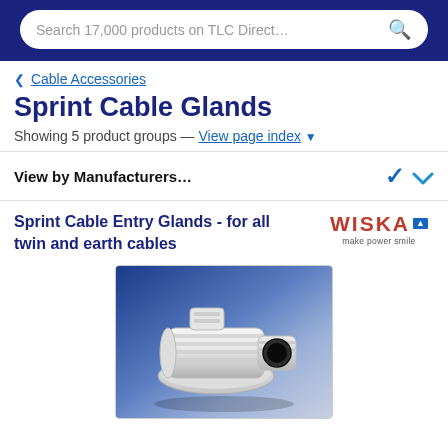Search 17,000 products on TLC Direct...
< Cable Accessories
Sprint Cable Glands
Showing 5 product groups — View page index ▼
View by Manufacturers...
Sprint Cable Entry Glands - for all twin and earth cables
[Figure (photo): White plastic Sprint Cable Entry Gland for twin and earth cables, shown against a blue background. The gland is white with a cylindrical body, flanged base, and central cable entry hole.]